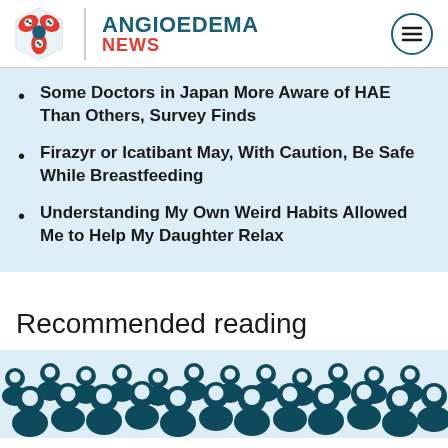ANGIOEDEMA NEWS
Some Doctors in Japan More Aware of HAE Than Others, Survey Finds
Firazyr or Icatibant May, With Caution, Be Safe While Breastfeeding
Understanding My Own Weird Habits Allowed Me to Help My Daughter Relax
Recommended reading
[Figure (illustration): Crowd of people illustrated in dark teal, showing many figures packed together, partially visible at bottom of page]